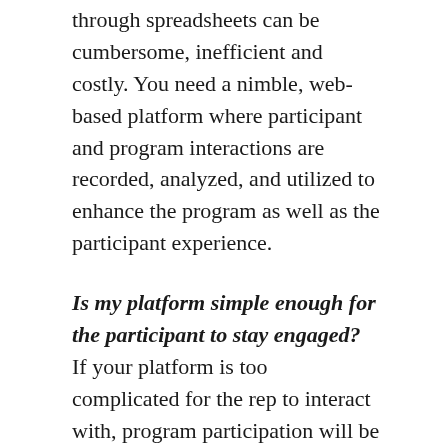through spreadsheets can be cumbersome, inefficient and costly. You need a nimble, web-based platform where participant and program interactions are recorded, analyzed, and utilized to enhance the program as well as the participant experience.
Is my platform simple enough for the participant to stay engaged? If your platform is too complicated for the rep to interact with, program participation will be lower than expected. This is a huge problem with a large number of incentive platforms, they are too complicated and don't offer any real value to the participant.  In order to ensure high engagement levels, a simple, easy to use